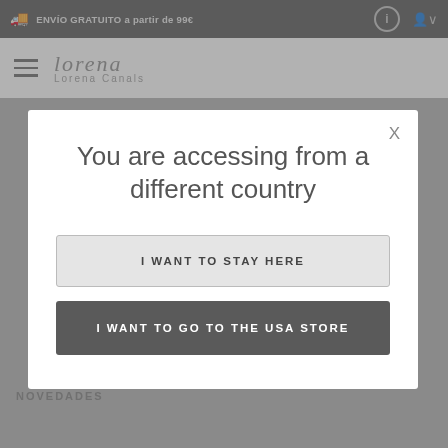ENVÍO GRATUITO a partir de 99€
[Figure (screenshot): Lorena Canals website logo with hamburger menu]
70 x 100 cm
If you only wish to protect the floor against splashes, such as in my toy area or the kitchen, these smaller rugs are a very convenient option, being easy to wash.
NOVEDADES
You are accessing from a different country
I WANT TO STAY HERE
I WANT TO GO TO THE USA STORE